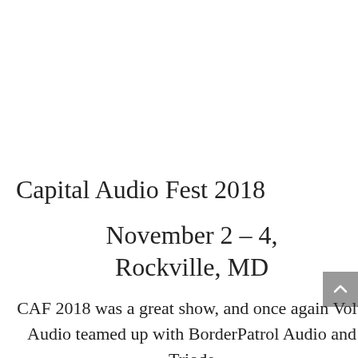Capital Audio Fest 2018
November 2 – 4,
Rockville, MD
CAF 2018 was a great show, and once again Volti Audio teamed up with BorderPatrol Audio and Triode